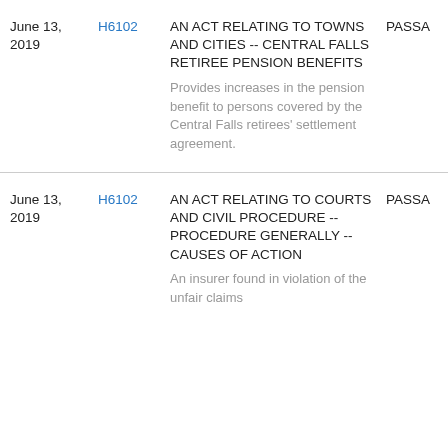| Date | Bill | Title/Description | Status |
| --- | --- | --- | --- |
| June 13, 2019 | H6102 | AN ACT RELATING TO TOWNS AND CITIES -- CENTRAL FALLS RETIREE PENSION BENEFITS
Provides increases in the pension benefit to persons covered by the Central Falls retirees' settlement agreement. | PASSA... |
| June 13, 2019 | H6102 | AN ACT RELATING TO COURTS AND CIVIL PROCEDURE -- PROCEDURE GENERALLY -- CAUSES OF ACTION
An insurer found in violation of the unfair claims | PASSA... |